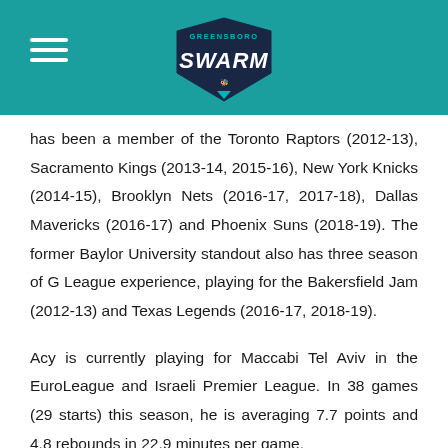[Figure (logo): Greensboro Swarm NBA G League team logo — teal shield with 'SWARM' text and a bee icon]
has been a member of the Toronto Raptors (2012-13), Sacramento Kings (2013-14, 2015-16), New York Knicks (2014-15), Brooklyn Nets (2016-17, 2017-18), Dallas Mavericks (2016-17) and Phoenix Suns (2018-19). The former Baylor University standout also has three season of G League experience, playing for the Bakersfield Jam (2012-13) and Texas Legends (2016-17, 2018-19).
Acy is currently playing for Maccabi Tel Aviv in the EuroLeague and Israeli Premier League. In 38 games (29 starts) this season, he is averaging 7.7 points and 4.8 rebounds in 22.9 minutes per game.
Roberson, 23, was a four-year player for Vanderbilt University. Undrafted in 2018, the Houston native spent his first season as a professional playing for the Red Claws. With Maine (2018-19), he averaged 4.9 points and 3.8 rebounds in 20.7 minutes per game.